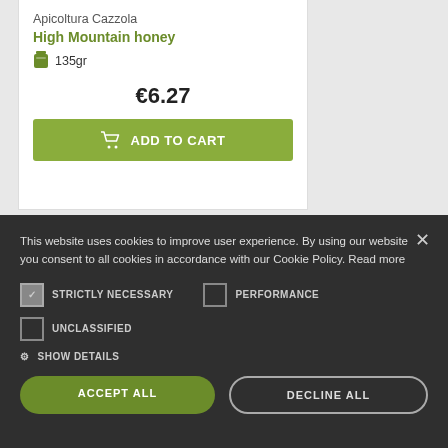Apicoltura Cazzola
High Mountain honey
135gr
€6.27
ADD TO CART
This website uses cookies to improve user experience. By using our website you consent to all cookies in accordance with our Cookie Policy. Read more
STRICTLY NECESSARY
PERFORMANCE
UNCLASSIFIED
SHOW DETAILS
ACCEPT ALL
DECLINE ALL